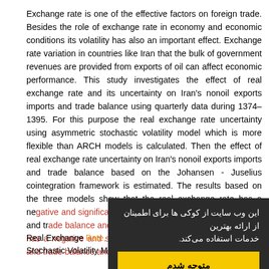Exchange rate is one of the effective factors on foreign trade. Besides the role of exchange rate in economy and economic conditions its volatility has also an important effect. Exchange rate variation in countries like Iran that the bulk of government revenues are provided from exports of oil can affect economic performance. This study investigates the effect of real exchange rate and its uncertainty on Iran's nonoil exports imports and trade balance using quarterly data during 1374–1395. For this purpose the real exchange rate uncertainty using asymmetric stochastic volatility model which is more flexible than ARCH models is calculated. Then the effect of real exchange rate uncertainty on Iran's nonoil exports imports and trade balance based on the Johansen - Juselius cointegration framework is estimated. The results based on the three models show that the real exchange rate has a negative and significant effect on Iran's nonoil exports imports and trade balance and also the real exchange rate uncertainty has a negative and significant effect on Iran's nonoil exports and trade balance and a negative...
Real Exchange Rate, Trade Balance, Uncertainty, Asymmetric Stochastic Volatility Model / Cointegration